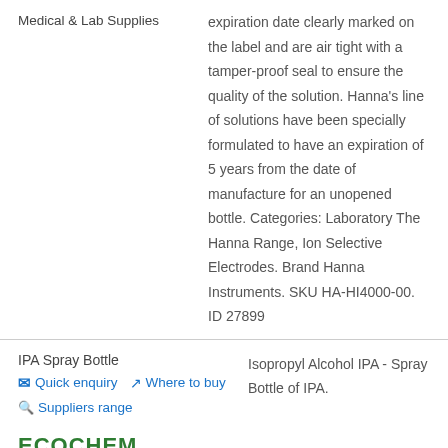Medical & Lab Supplies
expiration date clearly marked on the label and are air tight with a tamper-proof seal to ensure the quality of the solution. Hanna's line of solutions have been specially formulated to have an expiration of 5 years from the date of manufacture for an unopened bottle. Categories: Laboratory The Hanna Range, Ion Selective Electrodes. Brand Hanna Instruments. SKU HA-HI4000-00. ID 27899
IPA Spray Bottle
Quick enquiry   Where to buy   Suppliers range
Isopropyl Alcohol IPA - Spray Bottle of IPA.
ECOCHEM
Christchurch (CHCH) South